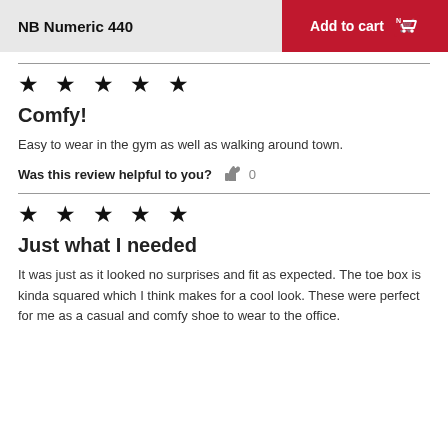NB Numeric 440 | Add to cart
★ ★ ★ ★ ★
Comfy!
Easy to wear in the gym as well as walking around town.
Was this review helpful to you? 👍 0
★ ★ ★ ★ ★
Just what I needed
It was just as it looked no surprises and fit as expected. The toe box is kinda squared which I think makes for a cool look. These were perfect for me as a casual and comfy shoe to wear to the office.